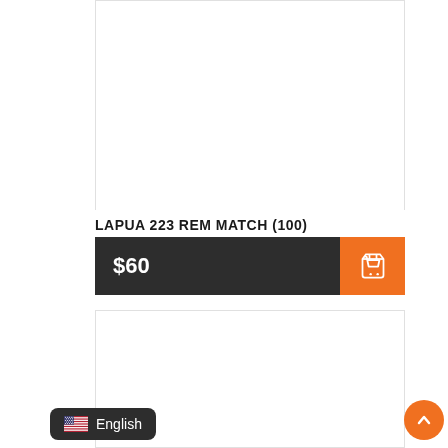[Figure (other): Product image placeholder (white rectangle with light border) for LAPUA 223 REM MATCH (100)]
LAPUA 223 REM MATCH (100)
$60
[Figure (other): Shopping cart button icon (white cart icon on orange background)]
[Figure (other): Second product image placeholder (white rectangle with light border)]
English
[Figure (other): Scroll to top button (orange circle with upward chevron)]